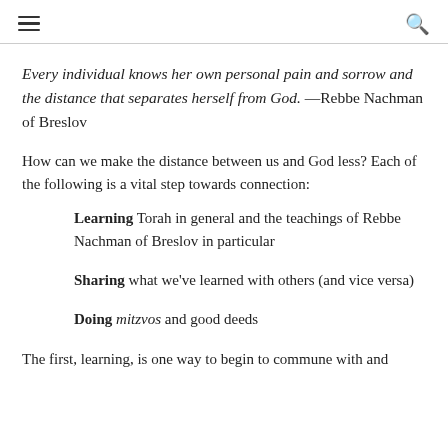≡ (menu) and 🔍 (search)
Every individual knows her own personal pain and sorrow and the distance that separates herself from God. —Rebbe Nachman of Breslov
How can we make the distance between us and God less? Each of the following is a vital step towards connection:
Learning Torah in general and the teachings of Rebbe Nachman of Breslov in particular
Sharing what we've learned with others (and vice versa)
Doing mitzvos and good deeds
The first, learning, is one way to begin to commune with and